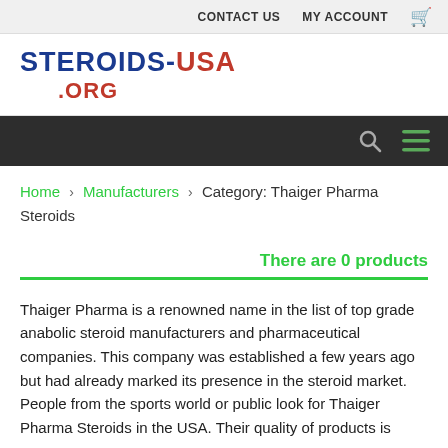CONTACT US   MY ACCOUNT  🛒
[Figure (logo): STEROIDS-USA.ORG logo in blue and red colors]
Navigation bar with search and hamburger menu icons
Home › Manufacturers › Category: Thaiger Pharma Steroids
There are 0 products
Thaiger Pharma is a renowned name in the list of top grade anabolic steroid manufacturers and pharmaceutical companies. This company was established a few years ago but had already marked its presence in the steroid market. People from the sports world or public look for Thaiger Pharma Steroids in the USA. Their quality of products is